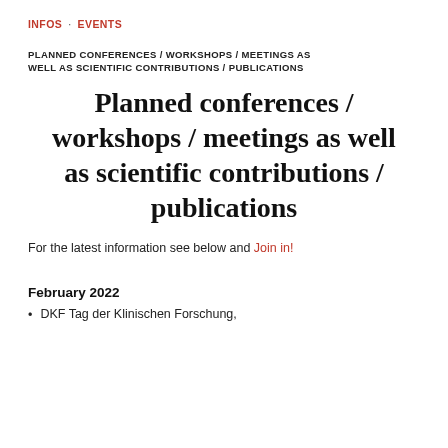INFOS · EVENTS
PLANNED CONFERENCES / WORKSHOPS / MEETINGS AS WELL AS SCIENTIFIC CONTRIBUTIONS / PUBLICATIONS
Planned conferences / workshops / meetings as well as scientific contributions / publications
For the latest information see below and Join in!
February 2022
DKF Tag der Klinischen Forschung,